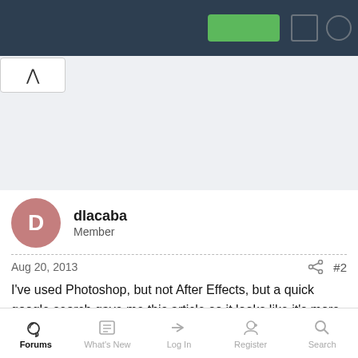Navigation bar with back button, green button, and icons
[Figure (screenshot): Gray advertisement/banner area]
dlacaba
Member
Aug 20, 2013   #2
I've used Photoshop, but not After Effects, but a quick google search gave me this article so it looks like it's more than possible.
Microsoft Surface Pro Review | Pocketnow
As for 4G, I personally just use my cell phone and tether it to my
Forums   What's New   Log In   Register   Search